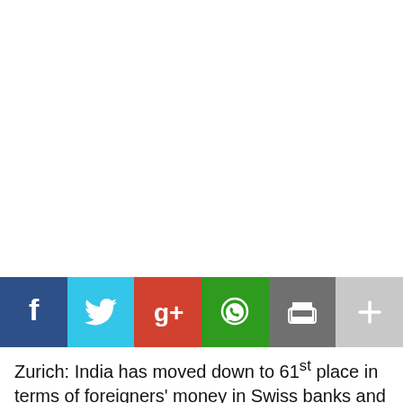[Figure (other): Large white/blank image area at top of page]
[Figure (infographic): Social media sharing bar with buttons: Facebook (dark blue, f icon), Twitter (cyan, bird icon), Google+ (red, g+ icon), WhatsApp (green, phone icon), Print (dark grey, printer icon), More (light grey, plus icon)]
Zurich: India has moved down to 61st place in terms of foreigners' money in Swiss banks and it now accounts